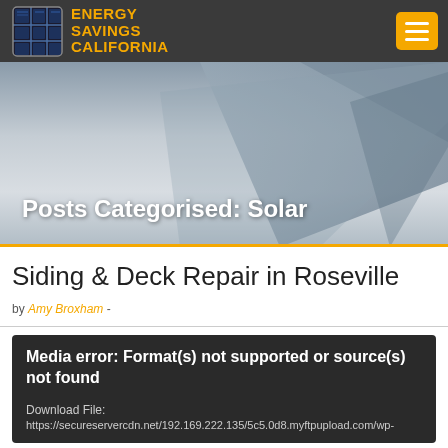[Figure (logo): Energy Savings California logo with solar panel grid icon and orange text]
Posts Categorised: Solar
Siding & Deck Repair in Roseville
by Amy Broxham -
Media error: Format(s) not supported or source(s) not found
Download File:
https://secureservercdn.net/192.169.222.135/5c5.0d8.myftpupload.com/wp-